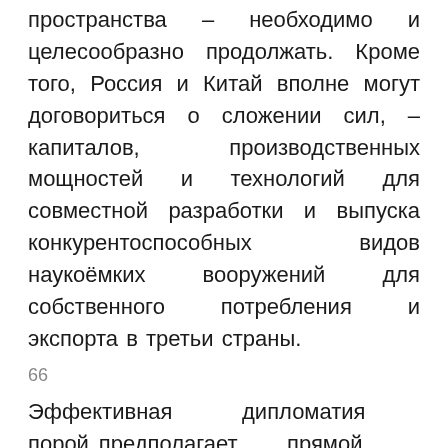пространства – необходимо и целесообразно продолжать. Кроме того, Россия и Китай вполне могут договориться о сложении сил, – капиталов, производственных мощностей и технологий для совместной разработки и выпуска конкурентоспособных видов наукоёмких вооружений для собственного потребления и экспорта в третьи страны.
66
Эффективная дипломатия порой предполагает прямой и ясный недипломатический язык. Это особенно важно, когда речь идёт о долгосрочном внешнеполитическом партнёре, пониманием, доверием и расположением которого России нужно дорожить. У России и Китая существует возможность и необходимость сохранить продуктивные